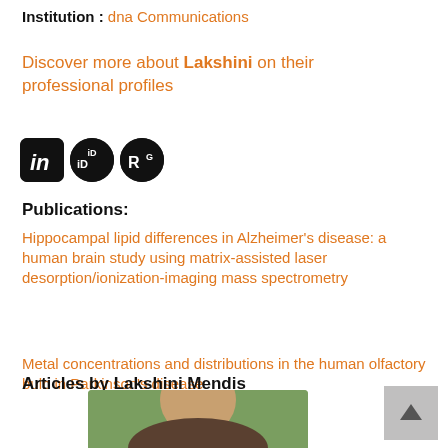Institution : dna Communications
Discover more about Lakshini on their professional profiles
[Figure (other): Social profile icon badges: LinkedIn (in), ORCID (iD), ResearchGate (RG)]
Publications:
Hippocampal lipid differences in Alzheimer's disease: a human brain study using matrix-assisted laser desorption/ionization-imaging mass spectrometry
Metal concentrations and distributions in the human olfactory bulb in Parkinson's disease
Articles by Lakshini Mendis
[Figure (photo): Partial photo of a person outdoors, cropped at bottom of page]